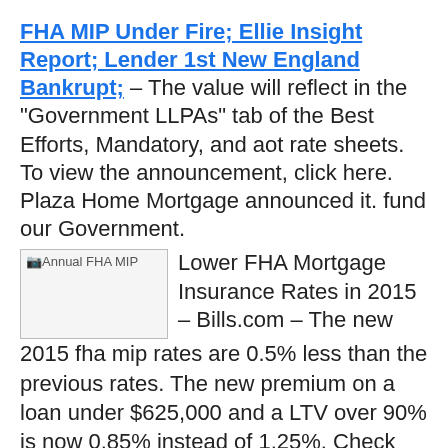FHA MIP Under Fire; Ellie Insight Report; Lender 1st New England Bankrupt; – The value will reflect in the "Government LLPAs" tab of the Best Efforts, Mandatory, and aot rate sheets. To view the announcement, click here. Plaza Home Mortgage announced it. fund our Government.
[Figure (photo): Image placeholder labeled 'Annual FHA MIP' with broken image icon]
Lower FHA Mortgage Insurance Rates in 2015 – Bills.com – The new 2015 fha mip rates are 0.5% less than the previous rates. The new premium on a loan under $625,000 and a LTV over 90% is now 0.85% instead of 1.25%. Check out the cumulative savings based on a $200,000, 30-year FHA loan with a 3.5% down payment at 3.25%.
Obama to Cut Mortgage Insurance Costs, Homebuilders Gain – Analyst Blog – Shares of homebuilders, D.R.